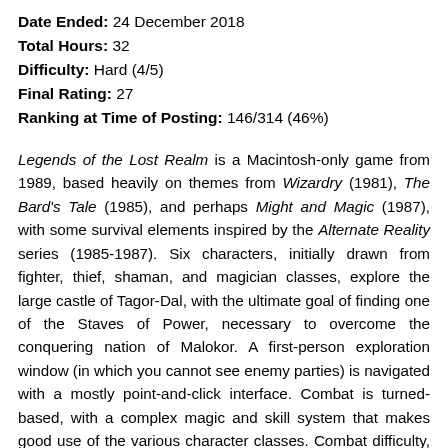Date Ended: 24 December 2018
Total Hours: 32
Difficulty: Hard (4/5)
Final Rating: 27
Ranking at Time of Posting: 146/314 (46%)
Legends of the Lost Realm is a Macintosh-only game from 1989, based heavily on themes from Wizardry (1981), The Bard's Tale (1985), and perhaps Might and Magic (1987), with some survival elements inspired by the Alternate Reality series (1985-1987). Six characters, initially drawn from fighter, thief, shaman, and magician classes, explore the large castle of Tagor-Dal, with the ultimate goal of finding one of the Staves of Power, necessary to overcome the conquering nation of Malokor. A first-person exploration window (in which you cannot see enemy parties) is navigated with a mostly point-and-click interface. Combat is turned-based, with a complex magic and skill system that makes good use of the various character classes. Combat difficulty, experience point rewards, and the economy are all terribly imbalanced, making for an extremely difficult early game. Five sequels-cum-expansion packs were intended,